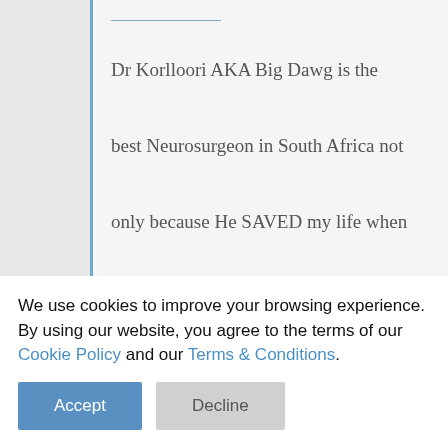Dr Korlloori AKA Big Dawg is the best Neurosurgeon in South Africa not only because He SAVED my life when I had a brain tumor. when you look at me you can never tell that I had a head surgery his work is a little bit more than excellent that's why I call him BIG DAWG because not All Doctors are ... Thank you BIG DAWG
We use cookies to improve your browsing experience. By using our website, you agree to the terms of our Cookie Policy and our Terms & Conditions.